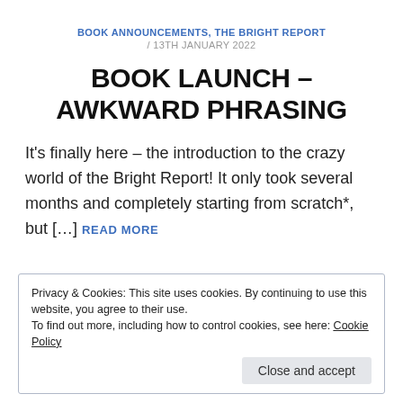BOOK ANNOUNCEMENTS, THE BRIGHT REPORT / 13TH JANUARY 2022
BOOK LAUNCH – AWKWARD PHRASING
It's finally here – the introduction to the crazy world of the Bright Report! It only took several months and completely starting from scratch*, but […] READ MORE
Privacy & Cookies: This site uses cookies. By continuing to use this website, you agree to their use.
To find out more, including how to control cookies, see here: Cookie Policy
Close and accept